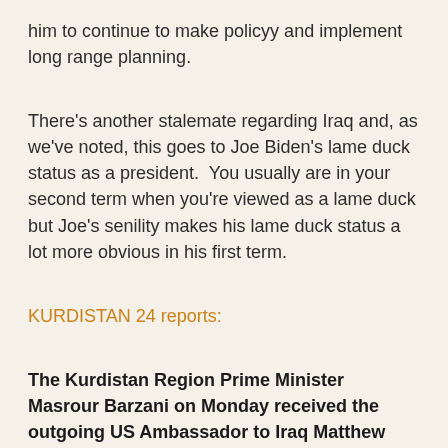him to continue to make policyy and implement long range planning.
There's another stalemate regarding Iraq and, as we've noted, this goes to Joe Biden's lame duck status as a president.  You usually are in your second term when you're viewed as a lame duck but Joe's senility makes his lame duck status a lot more obvious in his first term.
KURDISTAN 24 reports:
The Kurdistan Region Prime Minister Masrour Barzani on Monday received the outgoing US Ambassador to Iraq Matthew Tueller and discussed